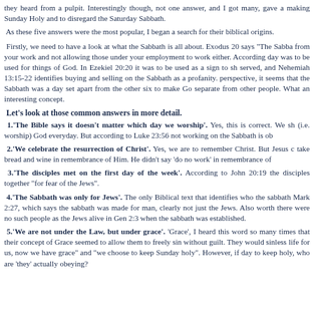they heard from a pulpit. Interestingly though, not one answer, and I got many, gave a making Sunday Holy and to disregard the Saturday Sabbath.
As these five answers were the most popular, I began a search for their biblical origins.
Firstly, we need to have a look at what the Sabbath is all about. Exodus 20 says "The Sabba from your work and not allowing those under your employment to work either. According day was to be used for things of God. In Ezekiel 20:20 it was to be used as a sign to sh served, and Nehemiah 13:15-22 identifies buying and selling on the Sabbath as a profanity. perspective, it seems that the Sabbath was a day set apart from the other six to make Go separate from other people. What an interesting concept.
Let's look at those common answers in more detail.
1.'The Bible says it doesn't matter which day we worship'. Yes, this is correct. We sh (i.e. worship) God everyday. But according to Luke 23:56 not working on the Sabbath is ob
2.'We celebrate the resurrection of Christ'. Yes, we are to remember Christ. But Jesus c take bread and wine in remembrance of Him. He didn't say 'do no work' in remembrance of
3.'The disciples met on the first day of the week'. According to John 20:19 the disciples together "for fear of the Jews".
4.'The Sabbath was only for Jews'. The only Biblical text that identifies who the sabbath Mark 2:27, which says the sabbath was made for man, clearly not just the Jews. Also worth there were no such people as the Jews alive in Gen 2:3 when the sabbath was established.
5.'We are not under the Law, but under grace'. 'Grace', I heard this word so many times that their concept of Grace seemed to allow them to freely sin without guilt. They would sinless life for us, now we have grace" and "we choose to keep Sunday holy". However, if day to keep holy, who are 'they' actually obeying?